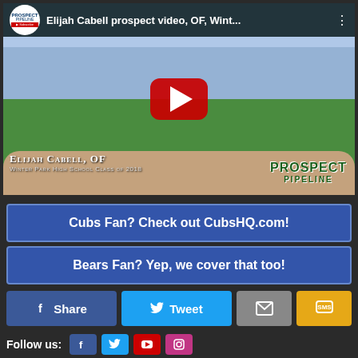[Figure (screenshot): YouTube video thumbnail showing Elijah Cabell prospect video, OF, Winter Park High School, with Prospect Pipeline logo. A batter swinging at home plate with a catcher behind, in a baseball stadium. Red YouTube play button in center.]
Cubs Fan? Check out CubsHQ.com!
Bears Fan? Yep, we cover that too!
Share
Tweet
Follow us: